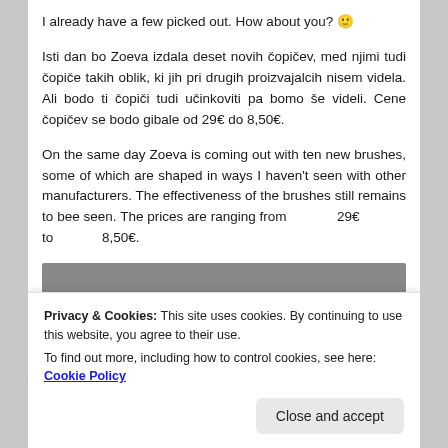I already have a few picked out. How about you? 🙂
Isti dan bo Zoeva izdala deset novih čopičev, med njimi tudi čopiče takih oblik, ki jih pri drugih proizvajalcih nisem videla. Ali bodo ti čopiči tudi učinkoviti pa bomo še videli. Cene čopičev se bodo gibale od 29€ do 8,50€.
On the same day Zoeva is coming out with ten new brushes, some of which are shaped in ways I haven't seen with other manufacturers. The effectiveness of the brushes still remains to bee seen. The prices are ranging from 29€ to 8,50€.
[Figure (photo): Partial image visible at the bottom, dark grey/photo area]
Privacy & Cookies: This site uses cookies. By continuing to use this website, you agree to their use.
To find out more, including how to control cookies, see here: Cookie Policy
Close and accept